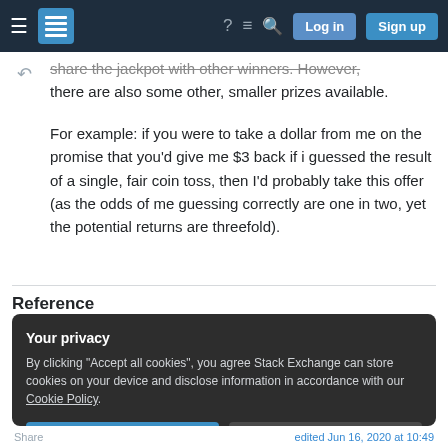Stack Exchange navigation bar with hamburger menu, logo, help, chat, search icons, Log in and Sign up buttons
share the jackpot with other winners. However, there are also some other, smaller prizes available.
For example: if you were to take a dollar from me on the promise that you'd give me $3 back if i guessed the result of a single, fair coin toss, then I'd probably take this offer (as the odds of me guessing correctly are one in two, yet the potential returns are threefold).
Reference
Your privacy
By clicking "Accept all cookies", you agree Stack Exchange can store cookies on your device and disclose information in accordance with our Cookie Policy.
[Accept all cookies] [Customize settings]
Share    edited Jun 16, 2020 at 10:49